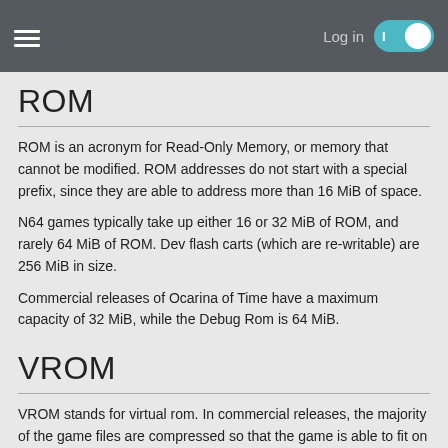Log in
ROM
ROM is an acronym for Read-Only Memory, or memory that cannot be modified. ROM addresses do not start with a special prefix, since they are able to address more than 16 MiB of space.
N64 games typically take up either 16 or 32 MiB of ROM, and rarely 64 MiB of ROM. Dev flash carts (which are re-writable) are 256 MiB in size.
Commercial releases of Ocarina of Time have a maximum capacity of 32 MiB, while the Debug Rom is 64 MiB.
VROM
VROM stands for virtual rom. In commercial releases, the majority of the game files are compressed so that the game is able to fit on the limited space of the 32 MiB rom. VROM addresses are thus used to represent the space that the file